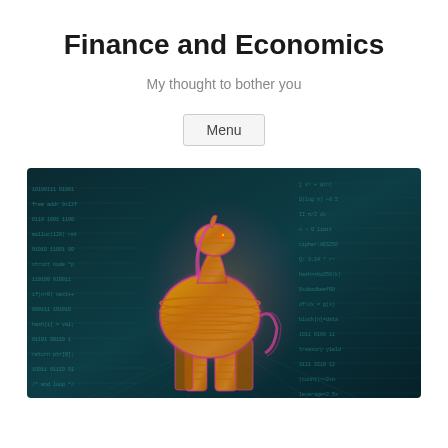Finance and Economics
My thought to bother you
Menu
[Figure (illustration): A digital art illustration of a Trojan horse made of stacked golden/orange coins or cylinders with a pink/red glowing outline, set against a dark teal background covered in code, binary numbers, mathematical formulas, and circuit-like patterns, resembling a cyber-security or digital finance theme.]